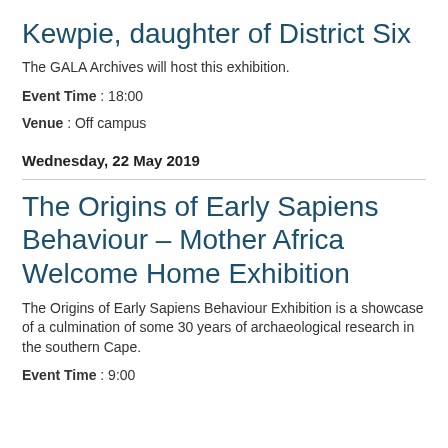Kewpie, daughter of District Six
The GALA Archives will host this exhibition.
Event Time : 18:00
Venue : Off campus
Wednesday, 22 May 2019
The Origins of Early Sapiens Behaviour – Mother Africa Welcome Home Exhibition
The Origins of Early Sapiens Behaviour Exhibition is a showcase of a culmination of some 30 years of archaeological research in the southern Cape.
Event Time : 9:00